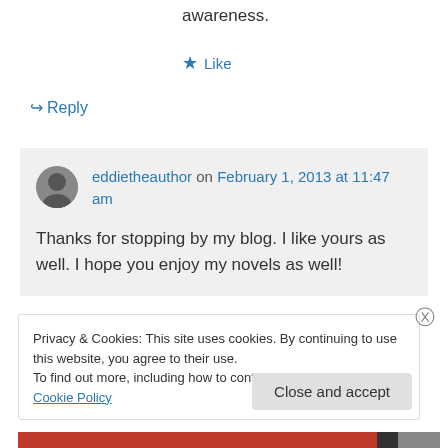awareness.
★ Like
↪ Reply
eddietheauthor on February 1, 2013 at 11:47 am
Thanks for stopping by my blog. I like yours as well. I hope you enjoy my novels as well!
Privacy & Cookies: This site uses cookies. By continuing to use this website, you agree to their use.
To find out more, including how to control cookies, see here: Cookie Policy
Close and accept